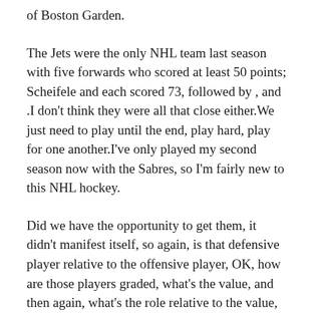of Boston Garden.
The Jets were the only NHL team last season with five forwards who scored at least 50 points; Scheifele and each scored 73, followed by , and .I don't think they were all that close either.We just need to play until the end, play hard, play for one another.I've only played my second season now with the Sabres, so I'm fairly new to this NHL hockey.
Did we have the opportunity to get them, it didn't manifest itself, so again, is that defensive player relative to the offensive player, OK, how are those players graded, what's the value, and then again, what's the role relative to the value, and then again, you just want to try to weigh all the factors equally and then ultimately make a decision.With the trade of Mike Gunneto Edmonton, they give us an opportunity...